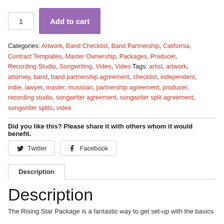1  Add to cart
Categories: Artwork, Band Checklist, Band Partnership, California, Contract Templates, Master Ownership, Packages, Producer, Recording Studio, Songwriting, Video, Video Tags: artist, artwork, attorney, band, band partnership agreement, checklist, independent, indie, lawyer, master, musician, partnership agreement, producer, recording studio, songwriter agreement, songwriter split agreement, songwriter splits, video
Did you like this? Please share it with others whom it would benefit.
Twitter  Facebook
Description
Description
The Rising Star Package is a fantastic way to get set-up with the basics